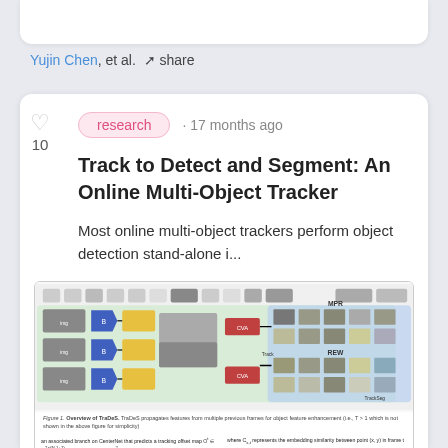Yujin Chen, et al. · share
research · 17 months ago
Track to Detect and Segment: An Online Multi-Object Tracker
Most online multi-object trackers perform object detection stand-alone i...
[Figure (screenshot): Architecture diagram of TraDeS multi-object tracking system showing image inputs, backbone (B) modules, feature extraction, CVA modules, MPR and REW components, and output tracking/segmentation results arranged in a flowchart with green and blue background regions.]
Figure 1. Overview of TraDeS. TraDeS propagates features from multiple previous frames for object feature enhancement (i.e., T > 1 which is not shown in the above figure for simplicity)
an associated branch on CenterNet that predicts a tracking offset map Ot ∈ R^{2×(N-1+1)} for data it receives. O^2 captures spatio-temporal displacement from all points of class c in the corresponding points in a previous frame t −
where C_{s,t} represents the embedding similarity between point (x, y) in frame t and point (x, b) at frame t − 1. Here, a point elder is an entry in the feature map f in t. Tracking Offset: Based on the cost map C, we calculate a tracking offset matrix O ∈ R^{2×H×W}, which shows the mean temporal displacements for all frames at time t to test
4. TraDeS Tracker